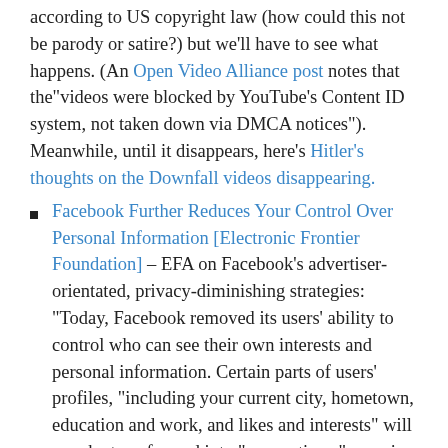according to US copyright law (how could this not be parody or satire?) but we'll have to see what happens. (An Open Video Alliance post notes that the“videos were blocked by YouTube’s Content ID system, not taken down via DMCA notices”). Meanwhile, until it disappears, here’s Hitler’s thoughts on the Downfall videos disappearing.
Facebook Further Reduces Your Control Over Personal Information [Electronic Frontier Foundation] – EFA on Facebook’s advertiser-orientated, privacy-diminishing strategies: “Today, Facebook removed its users’ ability to control who can see their own interests and personal information. Certain parts of users’ profiles, “including your current city, hometown, education and work, and likes and interests” will now be transformed into “connections,” meaning that they will be shared publicly. If you don’t want